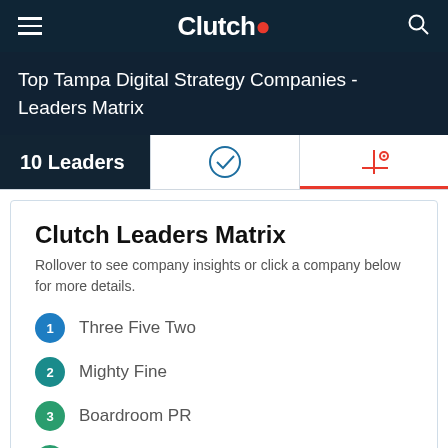Clutch
Top Tampa Digital Strategy Companies - Leaders Matrix
10 Leaders
Clutch Leaders Matrix
Rollover to see company insights or click a company below for more details.
1 Three Five Two
2 Mighty Fine
3 Boardroom PR
4 Websults